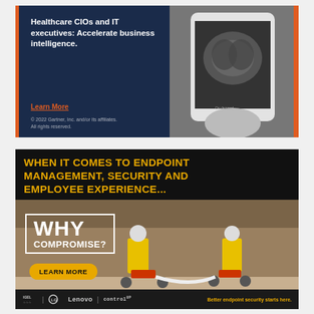[Figure (photo): Gartner advertisement for Healthcare CIOs and IT executives featuring a dark navy background with an image of a brain scan on a tablet/phone, orange accent bar, with 'Learn More' link and copyright notice.]
[Figure (photo): Endpoint management advertisement in black with yellow text 'WHEN IT COMES TO ENDPOINT MANAGEMENT, SECURITY AND EMPLOYEE EXPERIENCE...' and photo of two people in yellow firefighter suits riding small tricycles with 'WHY COMPROMISE?' text overlay, a yellow 'LEARN MORE' button, and footer logos for IGEL, LG, Lenovo, Control Up with tagline 'Better endpoint security starts here.']